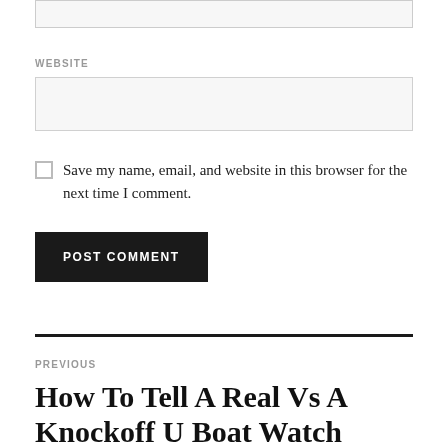[input box - partial, top of page]
WEBSITE
[website input field]
Save my name, email, and website in this browser for the next time I comment.
POST COMMENT
PREVIOUS
How To Tell A Real Vs A Knockoff U Boat Watch